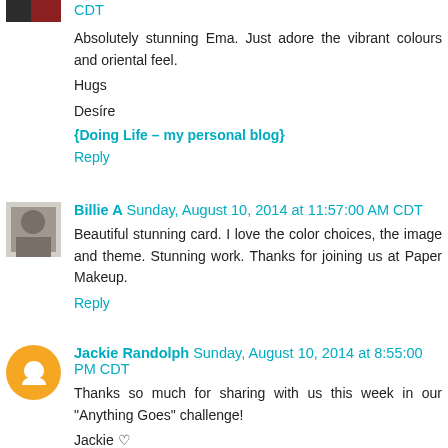CDT
Absolutely stunning Ema. Just adore the vibrant colours and oriental feel.
Hugs
Desire
{Doing Life – my personal blog}
Reply
Billie A  Sunday, August 10, 2014 at 11:57:00 AM CDT
Beautiful stunning card. I love the color choices, the image and theme. Stunning work. Thanks for joining us at Paper Makeup.
Reply
Jackie Randolph  Sunday, August 10, 2014 at 8:55:00 PM CDT
Thanks so much for sharing with us this week in our "Anything Goes" challenge!
Jackie ♡